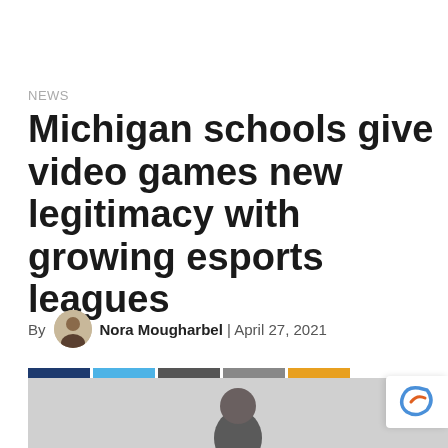NEWS
Michigan schools give video games new legitimacy with growing esports leagues
By Nora Mougharbel | April 27, 2021
[Figure (infographic): Social share buttons row: Facebook (dark blue), Twitter (light blue), Email (dark gray), Print (medium gray), More (orange)]
[Figure (photo): Partial photo of a person, cropped at bottom of page]